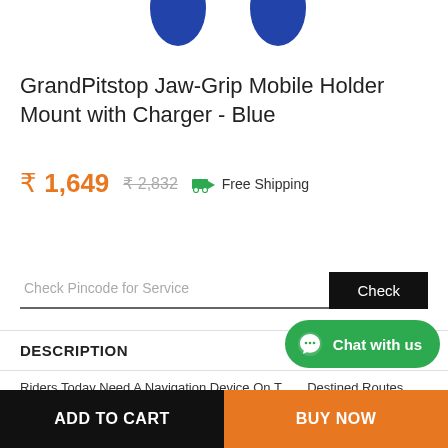[Figure (photo): Blue product shapes visible at top of page - partial view of GrandPitstop Jaw-Grip Mobile Holder device in blue color]
GrandPitstop Jaw-Grip Mobile Holder Mount with Charger - Blue
₹ 1,649  ₹ 2,832  Free Shipping
Check Pincode for Service  Check
DESCRIPTION +
Riders Today Need A Navigation Device On Their Destined Routes. What More Can Be Used Than A Mobile! When You
[Figure (other): Chat with us WhatsApp bubble button in green]
ADD TO CART
BUY NOW